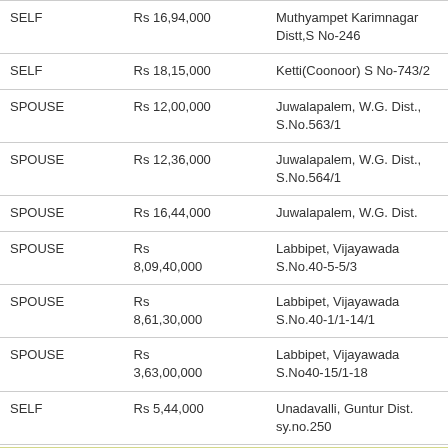| Owner | Value | Description |
| --- | --- | --- |
| SELF | Rs 16,94,000 | Muthyampet Karimnagar Distt,S No-246 |
| SELF | Rs 18,15,000 | Ketti(Coonoor) S No-743/2 |
| SPOUSE | Rs 12,00,000 | Juwalapalem, W.G. Dist., S.No.563/1 |
| SPOUSE | Rs 12,36,000 | Juwalapalem, W.G. Dist., S.No.564/1 |
| SPOUSE | Rs 16,44,000 | Juwalapalem, W.G. Dist. |
| SPOUSE | Rs 8,09,40,000 | Labbipet, Vijayawada S.No.40-5-5/3 |
| SPOUSE | Rs 8,61,30,000 | Labbipet, Vijayawada S.No.40-1/1-14/1 |
| SPOUSE | Rs 3,63,00,000 | Labbipet, Vijayawada S.No40-15/1-18 |
| SELF | Rs 5,44,000 | Unadavalli, Guntur Dist. sy.no.250 |
iii. Commercial Buildings:-
| Owner | Value | Description |
| --- | --- | --- |